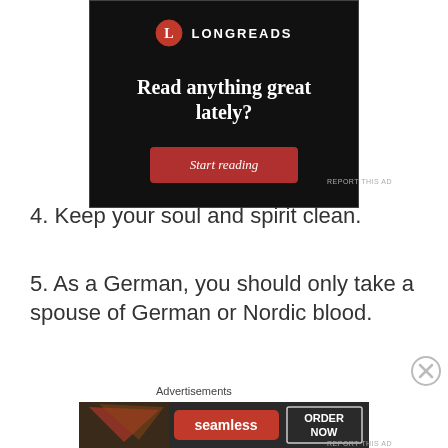[Figure (screenshot): Longreads advertisement banner with black background, Longreads logo at top, tagline 'Read anything great lately?' in white serif font, and a red 'Start reading' button]
REPORT THIS AD
4. Keep your soul and spirit clean.
5. As a German, you should only take a spouse of German or Nordic blood.
Advertisements
[Figure (screenshot): Seamless food delivery advertisement showing pizza slices, Seamless logo in red, and 'ORDER NOW' button in a bordered box]